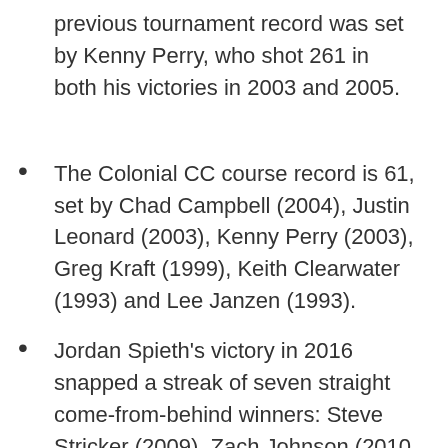previous tournament record was set by Kenny Perry, who shot 261 in both his victories in 2003 and 2005.
The Colonial CC course record is 61, set by Chad Campbell (2004), Justin Leonard (2003), Kenny Perry (2003), Greg Kraft (1999), Keith Clearwater (1993) and Lee Janzen (1993).
Jordan Spieth's victory in 2016 snapped a streak of seven straight come-from-behind winners: Steve Stricker (2009), Zach Johnson (2010 & 2012), David